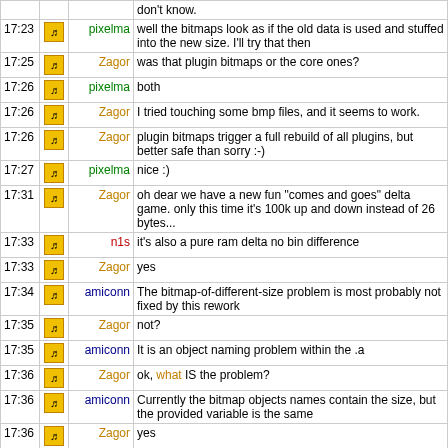| time | icon | user | message |
| --- | --- | --- | --- |
|  |  |  | don't know. |
| 17:23 | icon | pixelma | well the bitmaps look as if the old data is used and stuffed into the new size. I'll try that then |
| 17:25 | icon | Zagor | was that plugin bitmaps or the core ones? |
| 17:26 | icon | pixelma | both |
| 17:26 | icon | Zagor | I tried touching some bmp files, and it seems to work. |
| 17:26 | icon | Zagor | plugin bitmaps trigger a full rebuild of all plugins, but better safe than sorry :-) |
| 17:27 | icon | pixelma | nice :) |
| 17:31 | icon | Zagor | oh dear we have a new fun "comes and goes" delta game. only this time it's 100k up and down instead of 26 bytes... |
| 17:33 | icon | n1s | it's also a pure ram delta no bin difference |
| 17:33 | icon | Zagor | yes |
| 17:34 | icon | amiconn | The bitmap-of-different-size problem is most probably not fixed by this rework |
| 17:35 | icon | Zagor | not? |
| 17:35 | icon | amiconn | It is an object naming problem within the .a |
| 17:36 | icon | Zagor | ok, what IS the problem? |
| 17:36 | icon | amiconn | Currently the bitmap objects names contain the size, but the provided variable is the same |
| 17:36 | icon | Zagor | yes |
| 17:37 | icon | amiconn | So if you change the size of a bitmap, the compiler will create an .o with a different name, which is then added to the .a, i.e. doesn't replace the old one |
| 17:37 | icon | amiconn | But the linker will choose the first object that provides |